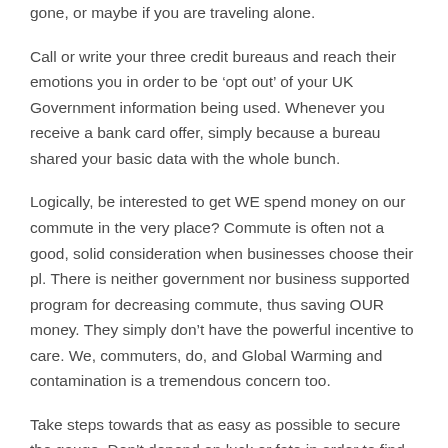gone, or maybe if you are traveling alone.
Call or write your three credit bureaus and reach their emotions you in order to be ‘opt out’ of your UK Government information being used. Whenever you receive a bank card offer, simply because a bureau shared your basic data with the whole bunch.
Logically, be interested to get WE spend money on our commute in the very place? Commute is often not a good, solid consideration when businesses choose their pl. There is neither government nor business supported program for decreasing commute, thus saving OUR money. They simply don’t have the powerful incentive to care. We, commuters, do, and Global Warming and contamination is a tremendous concern too.
Take steps towards that as easy as possible to secure the gauge. Don’t depend on luck or fate in order to find the right coins in your pocket or the handbag. Instead, always make sure you have coins by collecting a role of quarters at the bank and keeping it inside